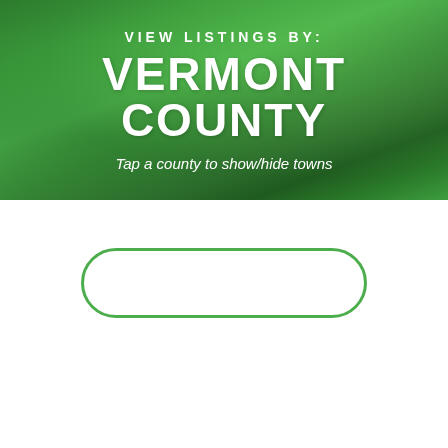[Figure (photo): Green landscape/hills background with overlaid text for Vermont County listings header]
VIEW LISTINGS BY:
VERMONT COUNTY
Tap a county to show/hide towns
[Figure (other): Empty pill-shaped button outline in green, no label text]